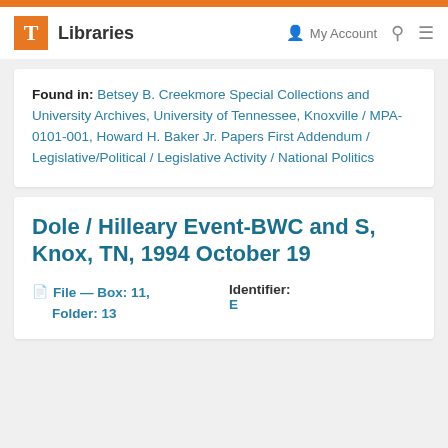T Libraries | My Account | Search | Menu
Found in: Betsey B. Creekmore Special Collections and University Archives, University of Tennessee, Knoxville / MPA-0101-001, Howard H. Baker Jr. Papers First Addendum / Legislative/Political / Legislative Activity / National Politics
Dole / Hilleary Event-BWC and S, Knox, TN, 1994 October 19
File — Box: 11, Folder: 13   Identifier: E